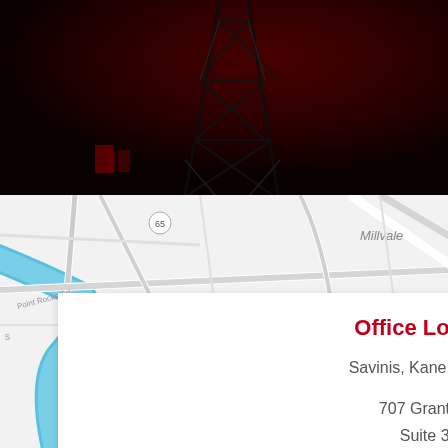[Figure (photo): Dark red/black toned photo of a steel transmission tower or industrial structure at night]
[Figure (map): Street map showing area near Pittsburgh with river (blue), roads, and labels including Millvale and route numbers 65 and 279]
Office Location:
Savinis, Kane, & Gallucci
707 Grant Street
Suite 3626